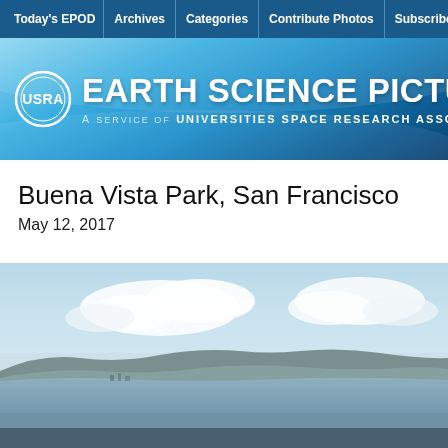Today's EPOD | Archives | Categories | Contribute Photos | Subscribe | About E
[Figure (logo): USRA Earth Science Picture of the Day banner with USRA circular logo on left and title text on right, blue gradient background]
Buena Vista Park, San Francisco
May 12, 2017
[Figure (photo): Aerial or elevated panoramic view of San Francisco Bay area from Buena Vista Park, showing water, distant hills, and clouds in a hazy blue sky]